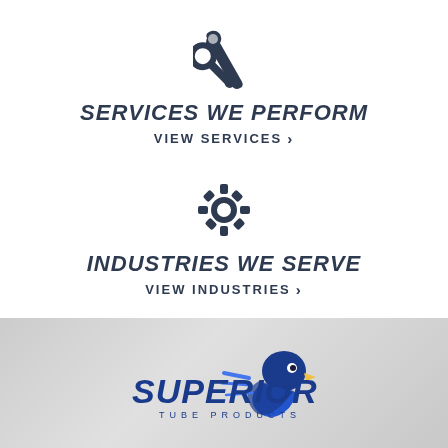[Figure (illustration): Wrench icon in dark navy color]
SERVICES WE PERFORM
VIEW SERVICES >
[Figure (illustration): Gear/cog settings icon in dark navy color]
INDUSTRIES WE SERVE
VIEW INDUSTRIES >
[Figure (logo): Superior Tube Products logo with eagle and stylized text on grey textured background]